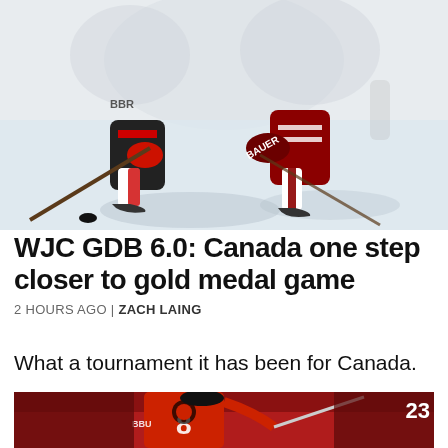[Figure (photo): Ice hockey action photo showing players from Canada (white/red/black uniforms) and Latvia (dark red/white striped uniforms) in close contact on the ice, battling for the puck. Lower body and skates visible. Bauer branding on equipment.]
WJC GDB 6.0: Canada one step closer to gold medal game
2 HOURS AGO | ZACH LAING
What a tournament it has been for Canada.
[Figure (photo): Hockey player in Chicago Blackhawks red jersey number 8 celebrating on ice. Number 23 visible in top right corner of image.]